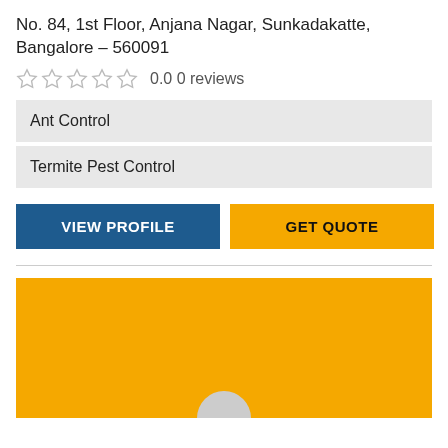No. 84, 1st Floor, Anjana Nagar, Sunkadakatte, Bangalore – 560091
0.0 0 reviews
Ant Control
Termite Pest Control
VIEW PROFILE
GET QUOTE
[Figure (photo): Yellow background block with a partially visible circular profile image at the bottom center]